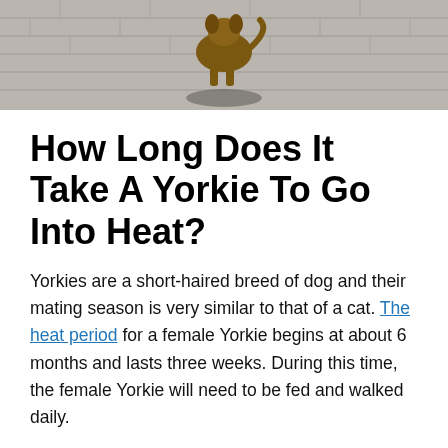[Figure (photo): Photo of a Yorkshire Terrier dog on a paved/brick surface with shadow visible]
How Long Does It Take A Yorkie To Go Into Heat?
Yorkies are a short-haired breed of dog and their mating season is very similar to that of a cat. The heat period for a female Yorkie begins at about 6 months and lasts three weeks. During this time, the female Yorkie will need to be fed and walked daily.
When she's ready to mate, she'll begin to growl at other dogs and other animals, and